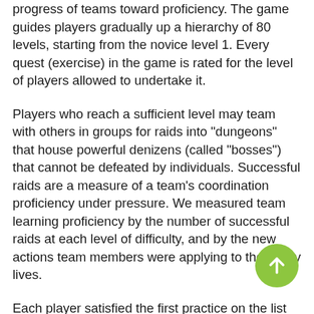progress of teams toward proficiency. The game guides players gradually up a hierarchy of 80 levels, starting from the novice level 1. Every quest (exercise) in the game is rated for the level of players allowed to undertake it.
Players who reach a sufficient level may team with others in groups for raids into "dungeons" that house powerful denizens (called "bosses") that cannot be defeated by individuals. Successful raids are a measure of a team's coordination proficiency under pressure. We measured team learning proficiency by the number of successful raids at each level of difficulty, and by the new actions team members were applying to their daily lives.
Each player satisfied the first practice on the list above by attaining a sufficient game level. We set up general team practices for the remainder of the list. Observers accompanied the teams in-game to monitor their coordination and coach them on their use of the general practices. The observer made sure that the team paused